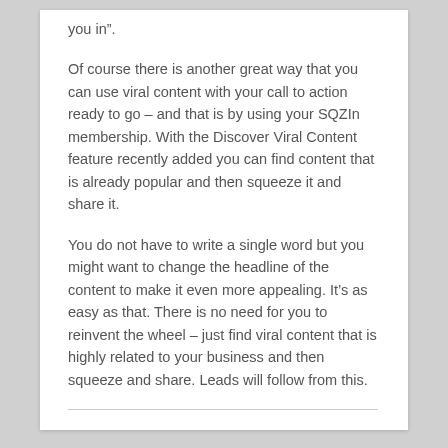you in”.
Of course there is another great way that you can use viral content with your call to action ready to go – and that is by using your SQZIn membership. With the Discover Viral Content feature recently added you can find content that is already popular and then squeeze it and share it.
You do not have to write a single word but you might want to change the headline of the content to make it even more appealing. It’s as easy as that. There is no need for you to reinvent the wheel – just find viral content that is highly related to your business and then squeeze and share. Leads will follow from this.